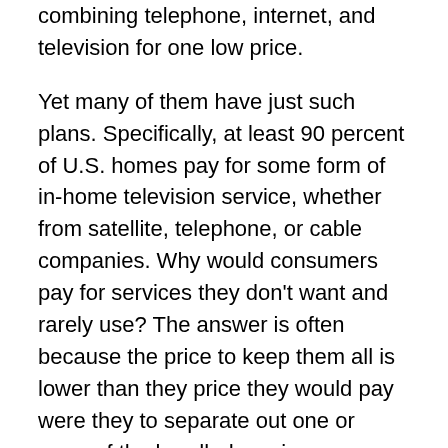combining telephone, internet, and television for one low price.
Yet many of them have just such plans. Specifically, at least 90 percent of U.S. homes pay for some form of in-home television service, whether from satellite, telephone, or cable companies. Why would consumers pay for services they don't want and rarely use? The answer is often because the price to keep them all is lower than they price they would pay were they to separate out one or more of the bundled services.
Cable operators tend to measure their success on the basis of the overall revenue they earn from each home, through any channel they offer. Therefore, their goal is to ensure they have multifaceted access to and revenue streams from consumers. Furthermore, by increasing the number of touchpoints and by ensuring that their...